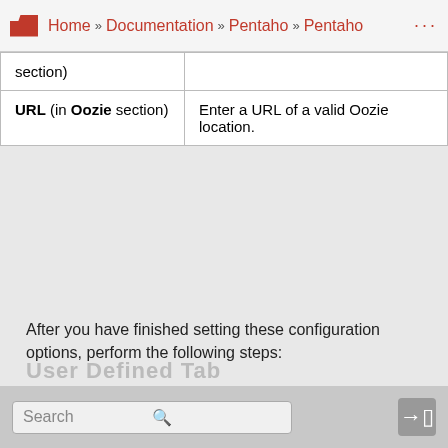Home » Documentation » Pentaho » Pentaho
| section) |  |
| URL (in Oozie section) | Enter a URL of a valid Oozie location. |
After you have finished setting these configuration options, perform the following steps:
Click Test to try your configurations on the Hadoop cluster. If you are unable to connect, see Connect to a Hadoop cluster with the PDI client for further details on Hadoop cluster connections.
Click OK to return to the Cluster tab.
Search